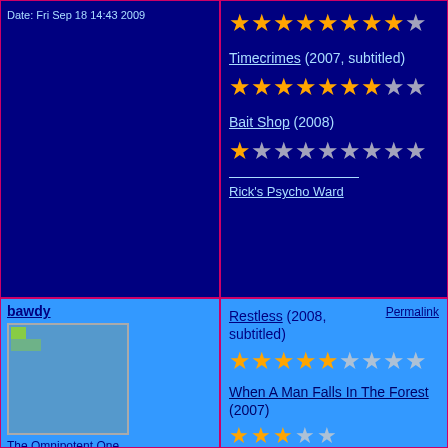Date: Fri Sep 18 14:43 2009
Timecrimes (2007, subtitled)
[Figure (other): Star rating: approximately 9 out of 10 gold stars]
Bait Shop (2008)
[Figure (other): Star rating: approximately 2 out of 10 gold stars]
Rick's Psycho Ward
bawdy
[Figure (photo): User avatar image placeholder]
The Omnipotent One
Status: Offline
Posts: 2696
Date: Sat Sep 19 15:10 2009
Permalink
Restless (2008, subtitled)
[Figure (other): Star rating: approximately 5 out of 10 gold stars]
When A Man Falls In The Forest (2007)
[Figure (other): Partial star rating visible at bottom]